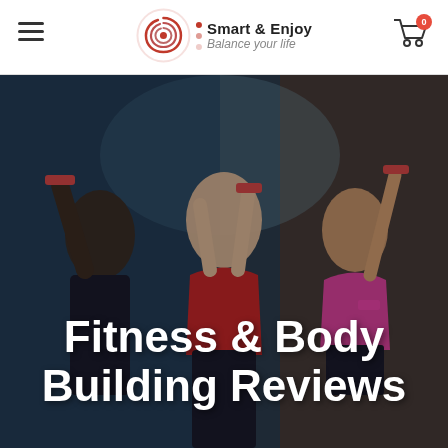Smart & Enjoy | Balance your life
[Figure (photo): Three women exercising with dumbbells in a gym with a dark blue-tinted atmosphere. The center woman wears a red sports top, left wears dark outfit, right wears pink top. Text overlay reads Fitness & Body Building Reviews.]
Fitness & Body Building Reviews